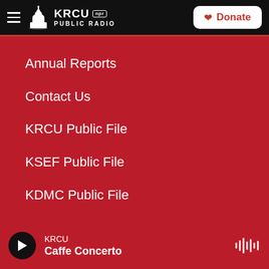KRCU PUBLIC RADIO | Donate
Annual Reports
Contact Us
KRCU Public File
KSEF Public File
KDMC Public File
[Figure (logo): NPR logo, American Public Media logo, PRX logo in footer band]
KRCU Caffe Concerto